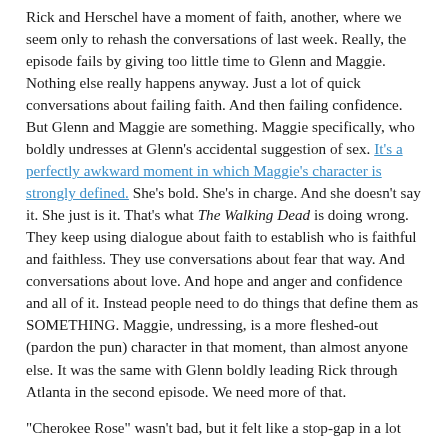Rick and Herschel have a moment of faith, another, where we seem only to rehash the conversations of last week. Really, the episode fails by giving too little time to Glenn and Maggie. Nothing else really happens anyway. Just a lot of quick conversations about failing faith. And then failing confidence. But Glenn and Maggie are something. Maggie specifically, who boldly undresses at Glenn's accidental suggestion of sex. It's a perfectly awkward moment in which Maggie's character is strongly defined. She's bold. She's in charge. And she doesn't say it. She just is it. That's what The Walking Dead is doing wrong. They keep using dialogue about faith to establish who is faithful and faithless. They use conversations about fear that way. And conversations about love. And hope and anger and confidence and all of it. Instead people need to do things that define them as SOMETHING. Maggie, undressing, is a more fleshed-out (pardon the pun) character in that moment, than almost anyone else. It was the same with Glenn boldly leading Rick through Atlanta in the second episode. We need more of that.
"Cherokee Rose" wasn't bad, but it felt like a stop-gap in a lot